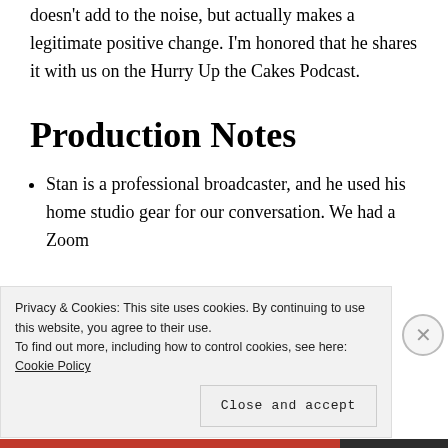doesn't add to the noise, but actually makes a legitimate positive change. I'm honored that he shares it with us on the Hurry Up the Cakes Podcast.
Production Notes
Stan is a professional broadcaster, and he used his home studio gear for our conversation. We had a Zoom
Privacy & Cookies: This site uses cookies. By continuing to use this website, you agree to their use.
To find out more, including how to control cookies, see here: Cookie Policy